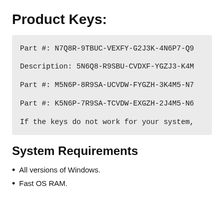Product Keys:
Part #: N7Q8R-9TBUC-VEXFY-G2J3K-4N6P7-Q9
Description: 5N6Q8-R9SBU-CVDXF-YGZJ3-K4M
Part #: M5N6P-8R9SA-UCVDW-FYGZH-3K4M5-N7
Part #: K5N6P-7R9SA-TCVDW-EXGZH-2J4M5-N6
If the keys do not work for your system,
System Requirements
All versions of Windows.
Fast OS RAM.